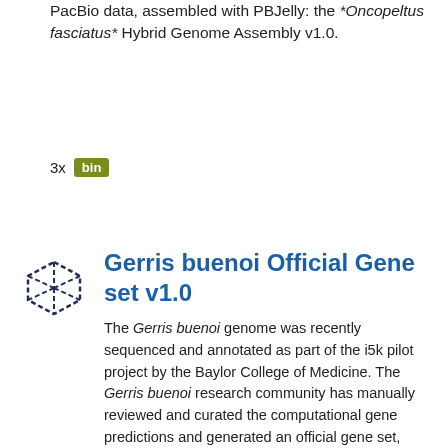PacBio data, assembled with PBJelly: the *Oncopeltus fasciatus* Hybrid Genome Assembly v1.0.
3x bin
Gerris buenoi Official Gene set v1.0
The Gerris buenoi genome was recently sequenced and annotated as part of the i5k pilot project by the Baylor College of Medicine. The Gerris buenoi research community has manually reviewed and curated the computational gene predictions and generated an official gene set, OGSv1.0. The OGS is an integration of automatic gene predictions from Maker (performed by Dan Hughes at Baylor College of Medicine) with manual annotations by the